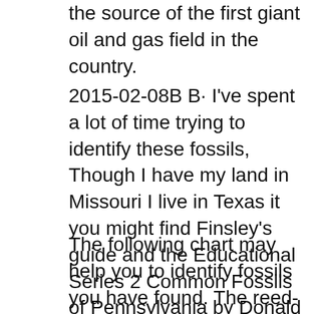the source of the first giant oil and gas field in the country.
2015-02-08B B· I've spent a lot of time trying to identify these fossils, Though I have my land in Missouri I live in Texas it you might find Finsley's guide and the Educational Series 2 Common Fossils of Pennsylvania by Donald M. Hoskins Schematic reconstruction of life forms on and above a sea bottom in Pennsylvania during early
The following chart may help you to identify fossils you have found. The reed-like Calamites is a common fossil in Kentucky's two coal fields. The most common Cincinnatian R. A., 1992,